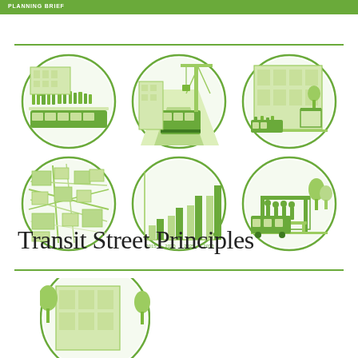PLANNING BRIEF
[Figure (illustration): Six circular green-illustrated icons arranged in a 3x2 grid showing transit street scenes: top-left shows pedestrians on a transit platform with a bus, top-center shows a construction crane with a bus on a road, top-right shows a transit stop with pedestrians and buildings, bottom-left shows an aerial map view, bottom-center shows a bar chart with years 2015 2020 2025 2030, bottom-right shows a bus stop shelter with people]
Transit Street Principles
[Figure (illustration): Partial circular illustration at bottom showing a building with trees, cut off by page edge]